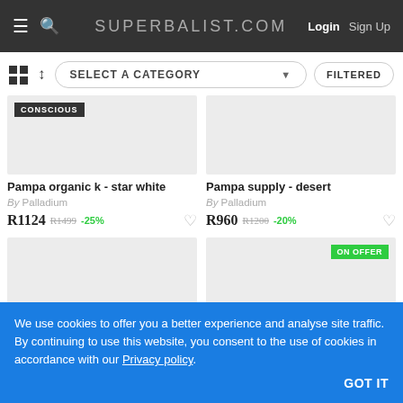SUPERBALIST.COM  Login  Sign Up
SELECT A CATEGORY   FILTERED
[Figure (screenshot): Product image placeholder for Pampa organic k - star white, with CONSCIOUS badge]
Pampa organic k - star white
By Palladium
R1124  R1499  -25%
[Figure (screenshot): Product image placeholder for Pampa supply - desert]
Pampa supply - desert
By Palladium
R960  R1200  -20%
[Figure (screenshot): Product image placeholder, bottom left]
[Figure (screenshot): Product image placeholder, bottom right, with ON OFFER badge]
We use cookies to offer you a better experience and analyse site traffic. By continuing to use this website, you consent to the use of cookies in accordance with our Privacy policy
GOT IT